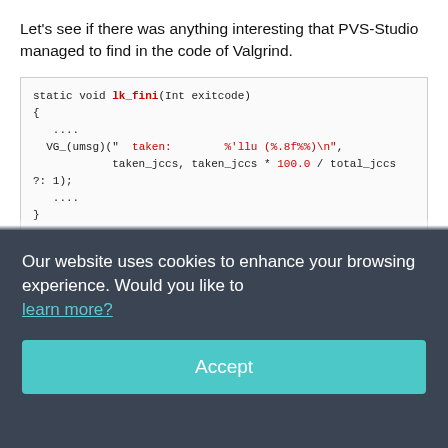Let's see if there was anything interesting that PVS-Studio managed to find in the code of Valgrind.
[Figure (screenshot): Code block showing C function: static void lk_fini(Int exitcode) with VG_(umsg) call using taken_jccs and 100.0 / total_jccs ?: 1]
PVS-Studio warning: V502 Perhaps the '?:' operator works in a different way than it was expected. The '?:' operator has a lower priority than the '/' operator. lk_main.c 1014
The operator ?: is very treacherous and it should be used very carefully. I have discussed this topic in the fourth chapter of my small e-book which I recommend to have a look at. Let's
Our website uses cookies to enhance your browsing experience. Would you like to learn more?
Accept